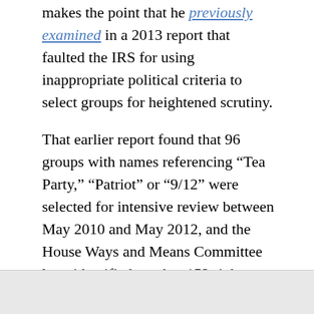makes the point that he previously examined in a 2013 report that faulted the IRS for using inappropriate political criteria to select groups for heightened scrutiny.
That earlier report found that 96 groups with names referencing “Tea Party,” “Patriot” or “9/12” were selected for intensive review between May 2010 and May 2012, and the House Ways and Means Committee later identified another 152 right-leaning groups that were subjected to scrutiny. Those findings fueled accusations by Republican lawmakers that the Obama administration engaged in politically motivated targeting of conservatives.
[Everything you need to know about the IRS scandal in one FAQ]